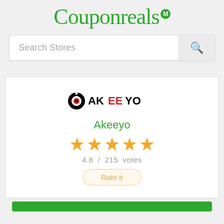[Figure (logo): Couponreals script logo in green with a small green badge]
Search Stores
[Figure (logo): Akeeyo brand logo: circular icon with target/camera eye and AKEEYO text in black, with EE in red]
Akeeyo
[Figure (other): Five gold stars rating display, 4.8 / 215 votes]
4.8 / 215 votes
Rate it